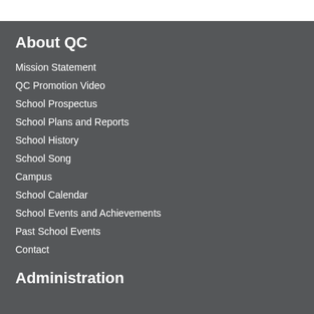About QC
Mission Statement
QC Promotion Video
School Prospectus
School Plans and Reports
School History
School Song
Campus
School Calendar
School Events and Achievements
Past School Events
Contact
Administration